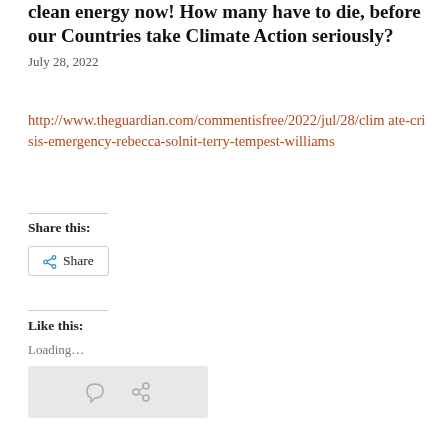clean energy now! How many have to die, before our Countries take Climate Action seriously?
July 28, 2022
http://www.theguardian.com/commentisfree/2022/jul/28/climate-crisis-emergency-rebecca-solnit-terry-tempest-williams
Share this:
Share
Like this:
Loading...